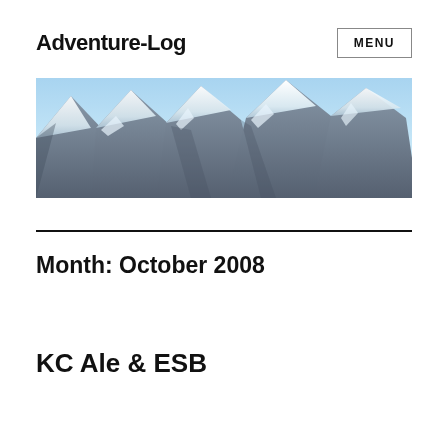Adventure-Log
[Figure (photo): Panoramic photograph of snow-capped mountain peaks with blue sky]
Month: October 2008
KC Ale & ESB